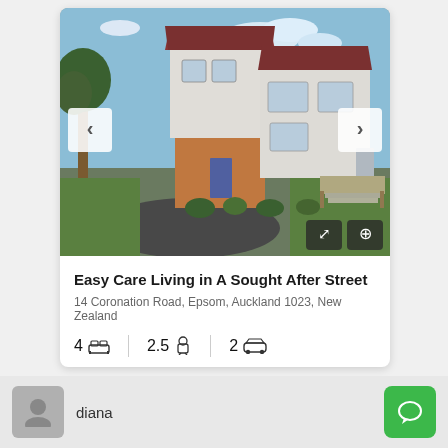[Figure (photo): Exterior photo of a two-storey house with white weatherboard cladding and brick accents, with a circular driveway, surrounded by trees and garden, blue sky background. Navigation arrows on left and right. Expand and add controls at bottom right.]
Easy Care Living in A Sought After Street
14 Coronation Road, Epsom, Auckland 1023, New Zealand
4 [bed icon]   2.5 [bath icon]   2 [car icon]
diana